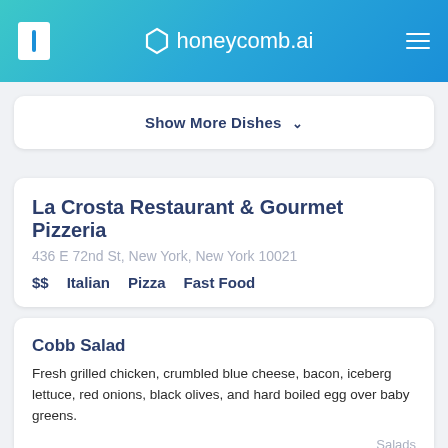honeycomb.ai
Show More Dishes ▾
La Crosta Restaurant & Gourmet Pizzeria
436 E 72nd St, New York, New York 10021
$$ Italian Pizza Fast Food
Cobb Salad
Fresh grilled chicken, crumbled blue cheese, bacon, iceberg lettuce, red onions, black olives, and hard boiled egg over baby greens.
Salads
Unsuitable Dish? Report